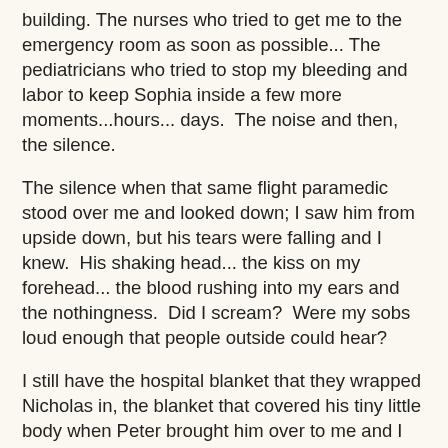building. The nurses who tried to get me to the emergency room as soon as possible... The pediatricians who tried to stop my bleeding and labor to keep Sophia inside a few more moments...hours... days.  The noise and then, the silence.
The silence when that same flight paramedic stood over me and looked down; I saw him from upside down, but his tears were falling and I knew.  His shaking head... the kiss on my forehead... the blood rushing into my ears and the nothingness.  Did I scream?  Were my sobs loud enough that people outside could hear?
I still have the hospital blanket that they wrapped Nicholas in, the blanket that covered his tiny little body when Peter brought him over to me and I was able to kiss his sweet little head again.  I remember watching Peter sleep, holding Nicholas on his chest like an extension of himself.  I remember singing to him and telling him how sorry I was that I'd failed him, how he was such a brave big brother for leaving Sophia behind to gestate for a bit longer, how I'd never forget him and that I'd love him forever.  The three nights in the hospital were a blur but the saying goodbye